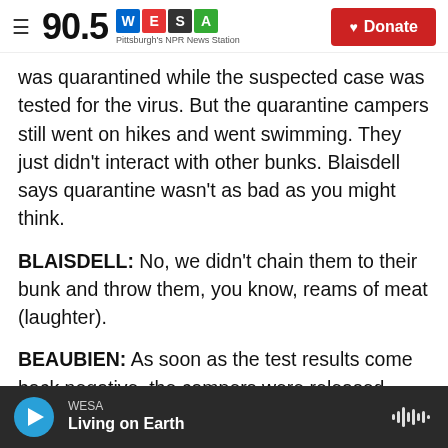90.5 WESA Pittsburgh's NPR News Station | Donate
was quarantined while the suspected case was tested for the virus. But the quarantine campers still went on hikes and went swimming. They just didn't interact with other bunks. Blaisdell says quarantine wasn't as bad as you might think.
BLAISDELL: No, we didn't chain them to their bunk and throw them, you know, reams of meat (laughter).
BEAUBIEN: As soon as the test results come back negative, the campers were released back into games of gaga ball and capture the flag. Inside their sealed perimeters, these camps have shown
WESA | Living on Earth